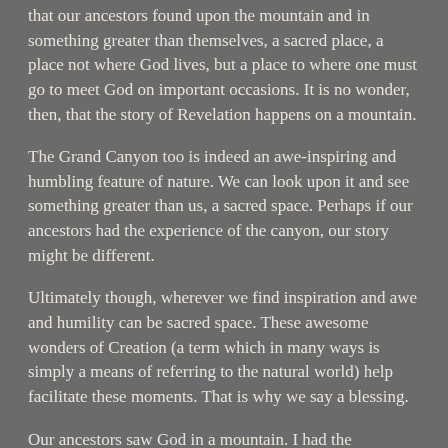that our ancestors found upon the mountain and in something greater than themselves, a sacred place, a place not where God lives, but a place to where one must go to meet God on important occasions. It is no wonder, then, that the story of Revelation happens on a mountain.
The Grand Canyon too is indeed an awe-inspiring and humbling feature of nature. We can look upon it and see something greater than us, a sacred space. Perhaps if our ancestors had the experience of the canyon, our story might be different.
Ultimately though, wherever we find inspiration and awe and humility can be sacred space. These awesome wonders of Creation (a term which in many ways is simply a means of referring to the natural world) help facilitate these moments. That is why we say a blessing.
Our ancestors saw God in a mountain. I had the experience of